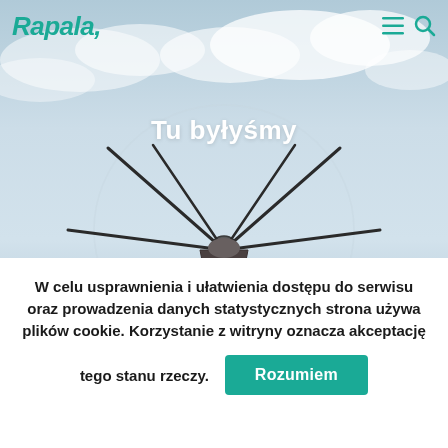Rapala,
[Figure (photo): A windmill seen from below against a light blue sky with white clouds. The windmill blades radiate outward. The image is the hero background of a travel/lifestyle website.]
Tu byłyśmy
W celu usprawnienia i ułatwienia dostępu do serwisu oraz prowadzenia danych statystycznych strona używa plików cookie. Korzystanie z witryny oznacza akceptację tego stanu rzeczy.
Rozumiem